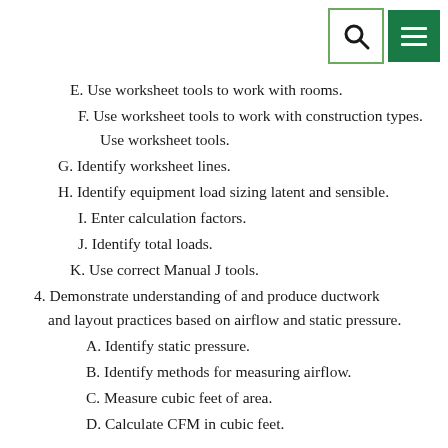[Figure (other): Search icon button (magnifying glass) and menu icon button (hamburger) in top-right corner]
E. Use worksheet tools to work with rooms.
F. Use worksheet tools to work with construction types. Use worksheet tools.
G. Identify worksheet lines.
H. Identify equipment load sizing latent and sensible.
I. Enter calculation factors.
J. Identify total loads.
K. Use correct Manual J tools.
4. Demonstrate understanding of and produce ductwork and layout practices based on airflow and static pressure.
A. Identify static pressure.
B. Identify methods for measuring airflow.
C. Measure cubic feet of area.
D. Calculate CFM in cubic feet.